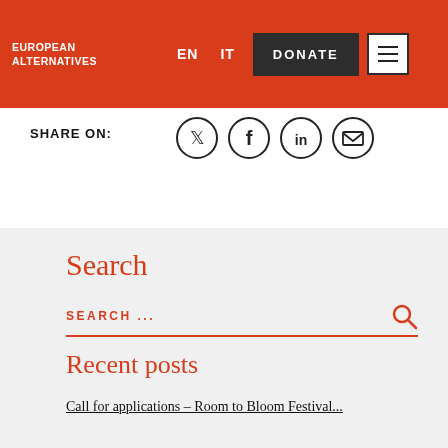EUROPEAN ALTERNATIVES | EN IT DONATE
SHARE ON:
[Figure (infographic): Social share icons: Twitter, Facebook, LinkedIn, Email — each inside a circle outline]
Search
SEARCH ...
Recent posts
Call for applications – Room to Bloom Festival...